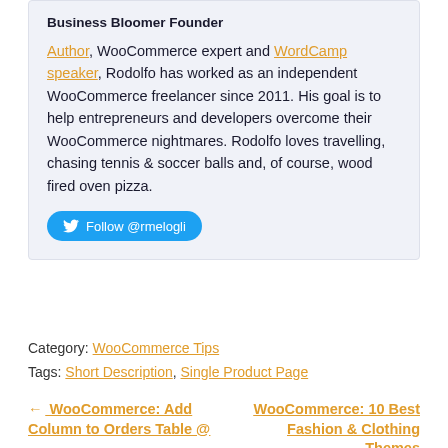Business Bloomer Founder
Author, WooCommerce expert and WordCamp speaker, Rodolfo has worked as an independent WooCommerce freelancer since 2011. His goal is to help entrepreneurs and developers overcome their WooCommerce nightmares. Rodolfo loves travelling, chasing tennis & soccer balls and, of course, wood fired oven pizza.
Follow @rmelogli
Category: WooCommerce Tips
Tags: Short Description, Single Product Page
← WooCommerce: Add Column to Orders Table @
WooCommerce: 10 Best Fashion & Clothing Themes